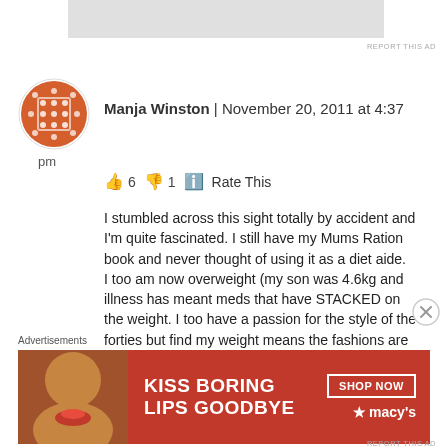[Figure (other): Gray advertisement banner at top]
REPORT THIS AD
[Figure (illustration): Orange circular avatar icon with dice pattern]
pm
Manja Winston | November 20, 2011 at 4:37 pm
👍 6 👎 1 ℹ Rate This
I stumbled across this sight totally by accident and I'm quite fascinated. I still have my Mums Ration book and never thought of using it as a diet aide.
I too am now overweight (my son was 4.6kg and illness has meant meds that have STACKED on the weight. I too have a passion for the style of the forties but find my weight means the fashions are off limits.
Best wishes to u. I wish u every success
Advertisements
[Figure (other): Macy's advertisement: KISS BORING LIPS GOODBYE with SHOP NOW button and star macys logo]